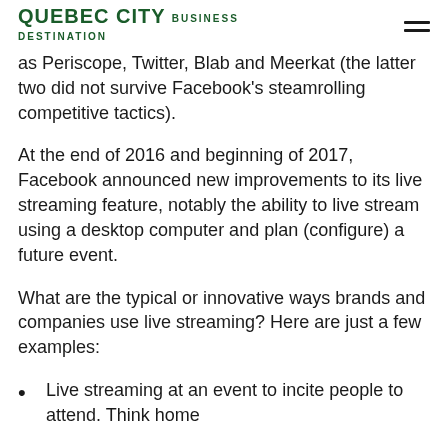QUEBEC CITY BUSINESS DESTINATION
as Periscope, Twitter, Blab and Meerkat (the latter two did not survive Facebook's steamrolling competitive tactics).
At the end of 2016 and beginning of 2017, Facebook announced new improvements to its live streaming feature, notably the ability to live stream using a desktop computer and plan (configure) a future event.
What are the typical or innovative ways brands and companies use live streaming? Here are just a few examples:
Live streaming at an event to incite people to attend. Think home